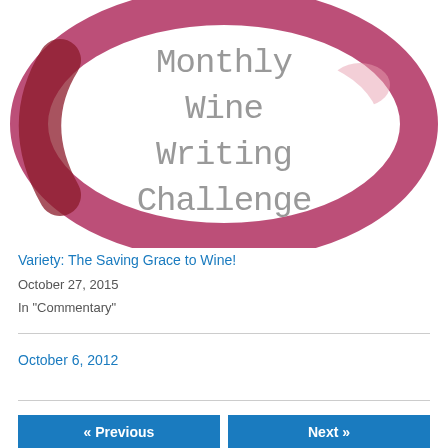[Figure (illustration): Wine ring stain circle illustration with text 'Monthly Wine Writing Challenge' in gray serif typewriter-style font inside the ring]
Variety: The Saving Grace to Wine!
October 27, 2015
In "Commentary"
October 6, 2012
« Previous
Next »